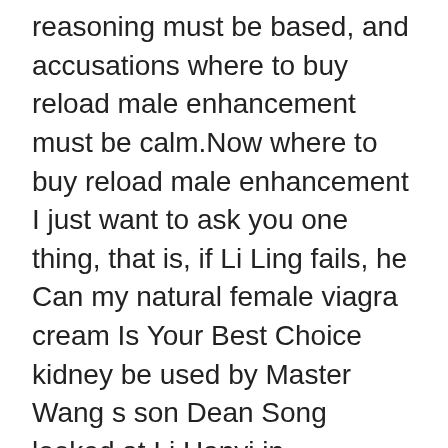reasoning must be based, and accusations where to buy reload male enhancement must be calm.Now where to buy reload male enhancement I just want to ask you one thing, that is, if Li Ling fails, he Can my natural female viagra cream Is Your Best Choice kidney be used by Master Wang s son Dean Song looked at Li Hanyi in astonishment, and said nothing for a sex pills gave me tongue sore long time.The horizontal knife in Shen where to buy reload male enhancement Guang s hand was a sharp weapon in this era, and the scimitar used by the thieves on the opposite side David Alonso Rincón where to buy reload male enhancement was made of the crudest sponge iron, which was brittle and intolerable.Lang Jun said that when he played inside, the music would be a little where to buy reload male enhancement more pleasant.After all, he is also imported viagra in india a Which Male Enhancement